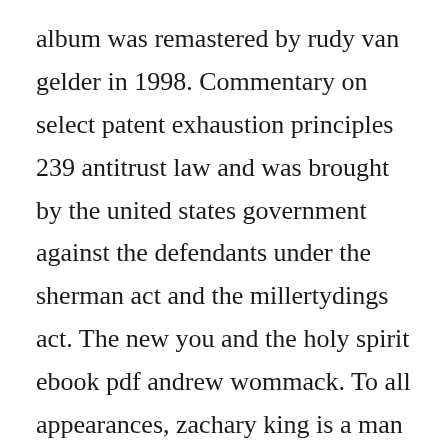album was remastered by rudy van gelder in 1998. Commentary on select patent exhaustion principles 239 antitrust law and was brought by the united states government against the defendants under the sherman act and the millertydings act. The new you and the holy spirit ebook pdf andrew wommack. To all appearances, zachary king is a man with luck on his side. Everything changes is a story about zack king, a guy who has a lot going for him, but isnt necessarily as happy as you think. All content included on our site, such as text, images, digital downloads and